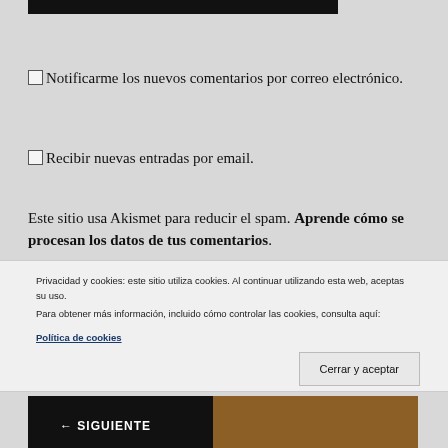[Figure (screenshot): Dark top bar image cropped at top]
Notificarme los nuevos comentarios por correo electrónico.
Recibir nuevas entradas por email.
Este sitio usa Akismet para reducir el spam. Aprende cómo se procesan los datos de tus comentarios.
[Figure (illustration): Partial image with blue swirl and Arabic-like characters on grey background]
Privacidad y cookies: este sitio utiliza cookies. Al continuar utilizando esta web, aceptas su uso.
Para obtener más información, incluido cómo controlar las cookies, consulta aquí:
Política de cookies
Cerrar y aceptar
[Figure (photo): Bottom dark banner with SIGUIENTE label]